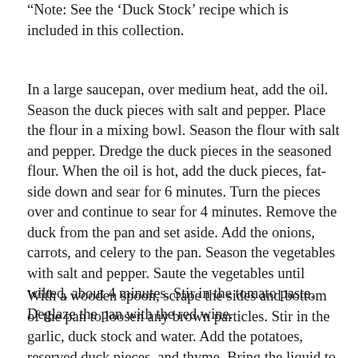"Note: See the 'Duck Stock' recipe which is included in this collection.
In a large saucepan, over medium heat, add the oil. Season the duck pieces with salt and pepper. Place the flour in a mixing bowl. Season the flour with salt and pepper. Dredge the duck pieces in the seasoned flour. When the oil is hot, add the duck pieces, fat-side down and sear for 6 minutes. Turn the pieces over and continue to sear for 4 minutes. Remove the duck from the pan and set aside. Add the onions, carrots, and celery to the pan. Season the vegetables with salt and pepper. Saute the vegetables until wilted, about 4 minutes. Stir in the tomato paste. Deglaze the pan with the red wine.
With a wooden spoon, scrape the sides and bottom of the pan to loosen any brown particles. Stir in the garlic, duck stock and water. Add the potatoes, reserved duck pieces, and thyme. Bring the liquid to a boil and reduce to a